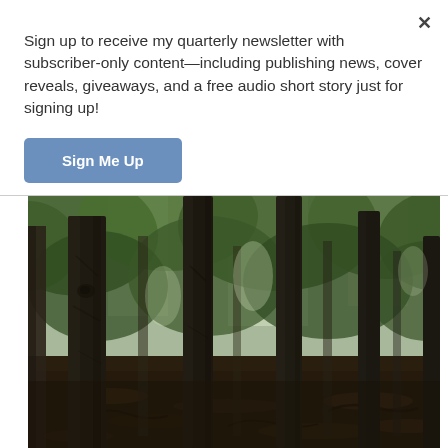Sign up to receive my quarterly newsletter with subscriber-only content—including publishing news, cover reveals, giveaways, and a free audio short story just for signing up!
[Figure (other): Close (X) button in top right corner of popup]
[Figure (photo): Outdoor forest scene with tall dark tree trunks, green leafy canopy, and a forest floor covered with fallen leaves and roots. Sunlight filters through the trees in the background.]